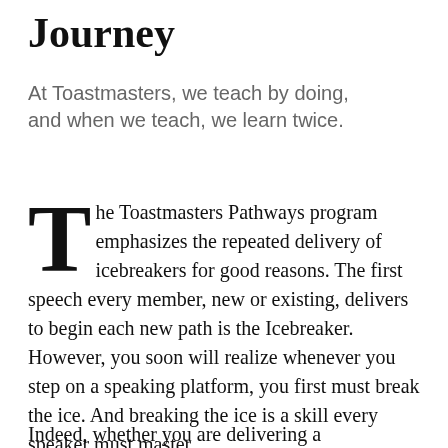Journey
At Toastmasters, we teach by doing, and when we teach, we learn twice.
The Toastmasters Pathways program emphasizes the repeated delivery of icebreakers for good reasons. The first speech every member, new or existing, delivers to begin each new path is the Icebreaker. However, you soon will realize whenever you step on a speaking platform, you first must break the ice. And breaking the ice is a skill every speaker must master.
Indeed, whether you are delivering a